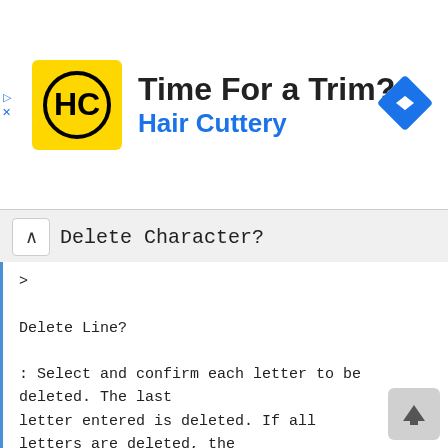[Figure (screenshot): Hair Cuttery advertisement banner with logo, 'Time For a Trim?' title, and navigation icon]
Delete Character?
>

Delete Line?

: Select and confirm each letter to be deleted. The last
letter entered is deleted. If all letters are deleted, the
first entry in the directory will be displayed again.

If applicable

: Select and confirm. All entered
letters are deleted. and